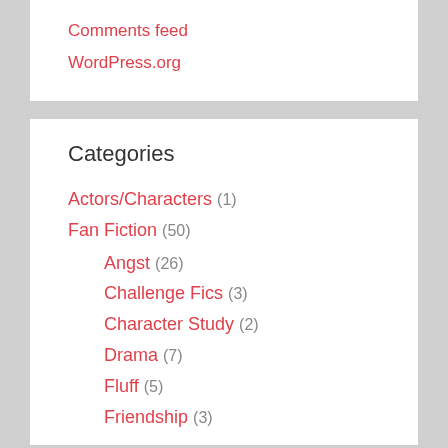Comments feed
WordPress.org
Categories
Actors/Characters (1)
Fan Fiction (50)
Angst (26)
Challenge Fics (3)
Character Study (2)
Drama (7)
Fluff (5)
Friendship (3)